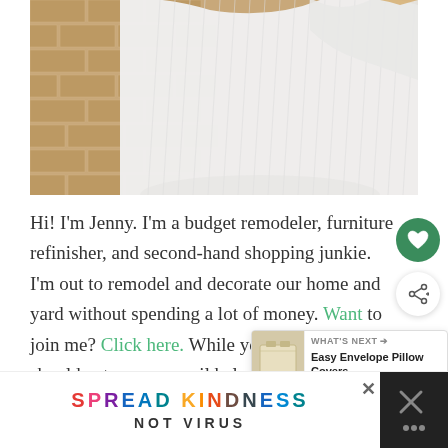[Figure (photo): Photo of a woman wearing a white ribbed t-shirt, standing in front of a brick wall. Only the torso and partial shoulders are visible.]
Hi! I'm Jenny. I'm a budget remodeler, furniture refinisher, and second-hand shopping junkie. I'm out to remodel and decorate our home and yard without spending a lot of money. Want to join me? Click here. While you're at it, you should enter your email below to get new posts emailed to
[Figure (screenshot): WHAT'S NEXT panel showing a thumbnail image of a pillow and text 'Easy Envelope Pillow Covers']
[Figure (infographic): Banner advertisement with colorful text: SPREAD KINDNESS NOT VIRUS, with close buttons]